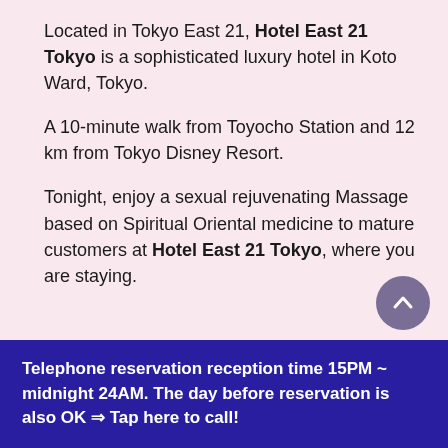Located in Tokyo East 21, Hotel East 21 Tokyo is a sophisticated luxury hotel in Koto Ward, Tokyo.
A 10-minute walk from Toyocho Station and 12 km from Tokyo Disney Resort.
Tonight, enjoy a sexual rejuvenating Massage based on Spiritual Oriental medicine to mature customers at Hotel East 21 Tokyo, where you are staying.
Telephone reservation reception time 15PM ~ midnight 24AM. The day before reservation is also OK ⇒ Tap here to call!